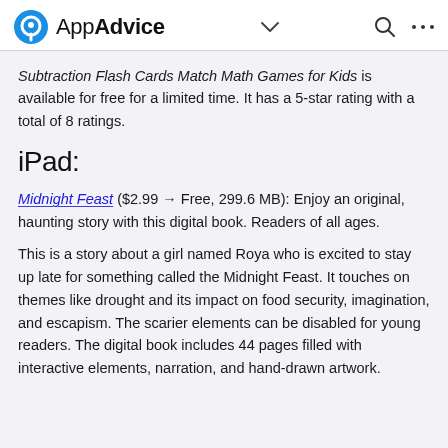AppAdvice
Subtraction Flash Cards Match Math Games for Kids is available for free for a limited time. It has a 5-star rating with a total of 8 ratings.
iPad:
Midnight Feast ($2.99 → Free, 299.6 MB): Enjoy an original, haunting story with this digital book. Readers of all ages.
This is a story about a girl named Roya who is excited to stay up late for something called the Midnight Feast. It touches on themes like drought and its impact on food security, imagination, and escapism. The scarier elements can be disabled for young readers. The digital book includes 44 pages filled with interactive elements, narration, and hand-drawn artwork.